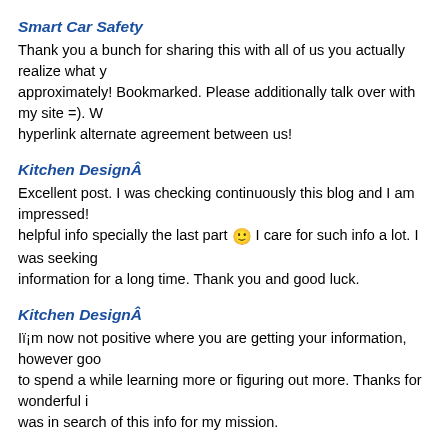Smart Car Safety
Thank you a bunch for sharing this with all of us you actually realize what you are talking approximately! Bookmarked. Please additionally talk over with my site =). We could have a hyperlink alternate agreement between us!
Kitchen DesignÂ
Excellent post. I was checking continuously this blog and I am impressed! helpful info specially the last part 🙂 I care for such info a lot. I was seeking this particular information for a long time. Thank you and good luck.
Kitchen DesignÂ
Iï¡m now not positive where you are getting your information, however good topic. I needs to spend a while learning more or figuring out more. Thanks for wonderful information I was in search of this info for my mission.
Kitchen DesignÂ
I carry on listening to the news broadcast speak about getting free online grant applications so I have been looking around for the most excellent site to get one. Could you tell me please, where could i find some?
Home ImprovementÂ